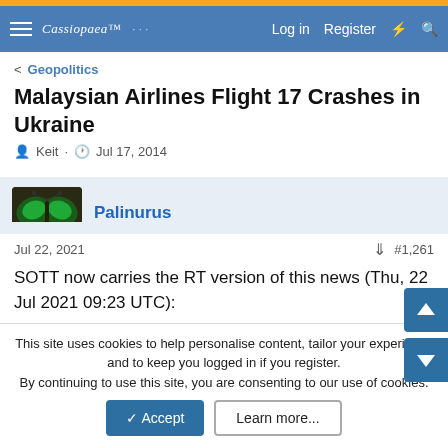Cassiopaea — Log in  Register
< Geopolitics
Malaysian Airlines Flight 17 Crashes in Ukraine
Keit · Jul 17, 2014
Palinurus
The Living Force
Jul 22, 2021  #1,261
SOTT now carries the RT version of this news (Thu, 22 Jul 2021 09:23 UTC):
Russia files first ever ECHR complaint blaming Ukraine...
This site uses cookies to help personalise content, tailor your experience and to keep you logged in if you register.
By continuing to use this site, you are consenting to our use of cookies.